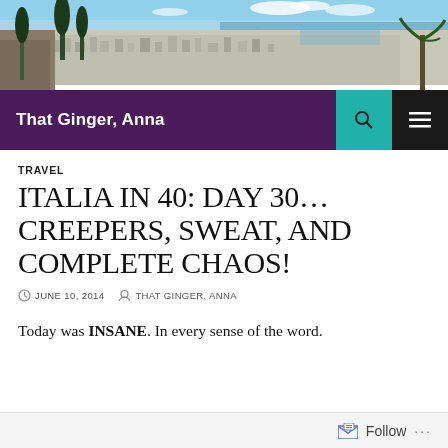[Figure (photo): Aerial/elevated panoramic photo of a coastal city (likely Haifa, Israel) with dense urban buildings, port, and Mediterranean sea visible in the background, with cypress trees and stone walls in the foreground]
That Ginger, Anna
TRAVEL
ITALIA IN 40: DAY 30… CREEPERS, SWEAT, AND COMPLETE CHAOS!
JUNE 10, 2014   THAT GINGER, ANNA
Today was INSANE. In every sense of the word.
Follow